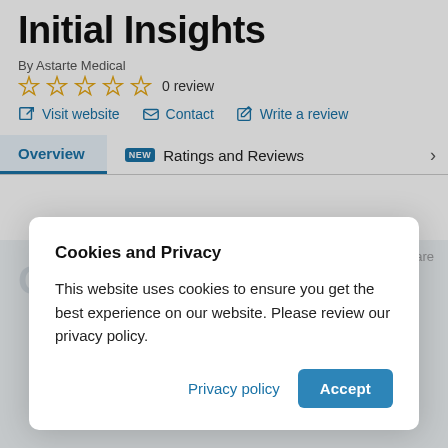Initial Insights
By Astarte Medical
☆ ☆ ☆ ☆ ☆  0 review
Visit website
Contact
Write a review
Overview | NEW Ratings and Reviews
Cookies and Privacy
This website uses cookies to ensure you get the best experience on our website. Please review our privacy policy.
Privacy policy  Accept